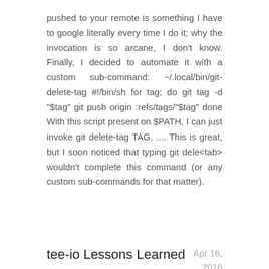pushed to your remote is something I have to google literally every time I do it; why the invocation is so arcane, I don't know. Finally, I decided to automate it with a custom sub-command: ~/.local/bin/git-delete-tag #!/bin/sh for tag; do git tag -d "$tag" git push origin :refs/tags/"$tag" done With this script present on $PATH, I can just invoke git delete-tag TAG, .... This is great, but I soon noticed that typing git dele<tab> wouldn't complete this command (or any custom sub-commands for that matter).
tee-io Lessons Learned
Apr 16, 2016
A while back, I launched a side project called tee-io. It's sort of like a live pastebin. You use its API to create a command and then send it buffered output,